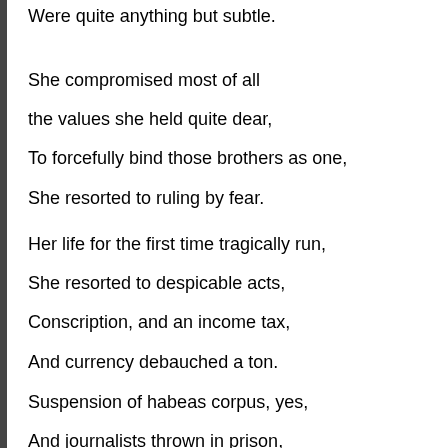Were quite anything but subtle.
She compromised most of all
the values she held quite dear,
To forcefully bind those brothers as one,
She resorted to ruling by fear.
Her life for the first time tragically run,
She resorted to despicable acts,
Conscription, and an income tax,
And currency debauched a ton.
Suspension of habeas corpus, yes,
And journalists thrown in prison,